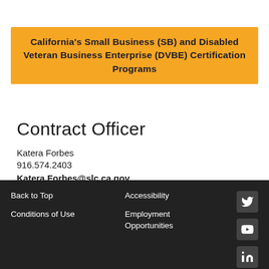California’s Small Business (SB) and Disabled Veteran Business Enterprise (DVBE) Certification Programs
Contract Officer
Katera Forbes
916.574.2403
Katera.Forbes@slc.ca.gov
Back to Top | Accessibility | Conditions of Use | Employment Opportunities